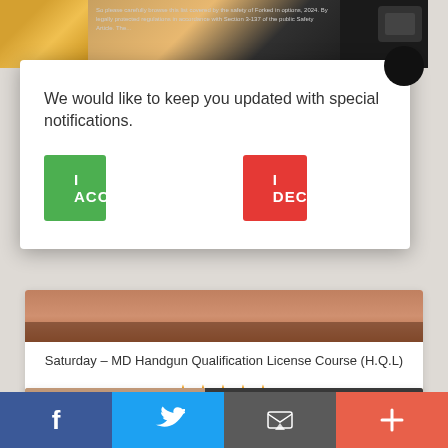[Figure (screenshot): Top image strip showing partial product/person images in three sections]
We would like to keep you updated with special notifications.
I ACCEPT
I DECLINE
Saturday – MD Handgun Qualification License Course (H.Q.L)
★★★★★
From: $120.00
[Figure (photo): Close-up photo of person's face with Handgun Qualification badge visible]
[Figure (infographic): Social media share bar with Facebook, Twitter, email, and plus icons]